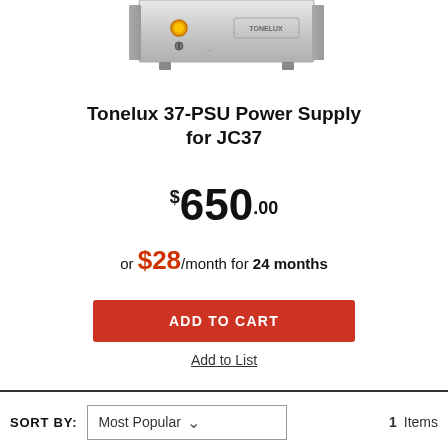[Figure (photo): Bottom portion of a Tonelux 37-PSU power supply unit, silver/metal casing with orange indicator light and brand logo visible]
Tonelux 37-PSU Power Supply for JC37
$650.00
or $28/month for 24 months
ADD TO CART
Add to List
SORT BY: Most Popular  1 Items